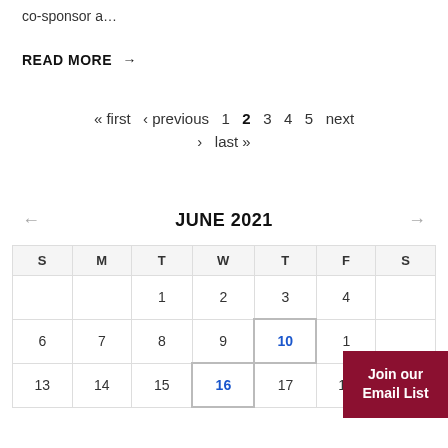co-sponsor a…
READ MORE →
« first ‹ previous 1 2 3 4 5 next › last »
JUNE 2021
| S | M | T | W | T | F | S |
| --- | --- | --- | --- | --- | --- | --- |
|  |  | 1 | 2 | 3 | 4 |  |
| 6 | 7 | 8 | 9 | 10 | 1 |  |
| 13 | 14 | 15 | 16 | 17 | 18 | 19 |
Join our Email List